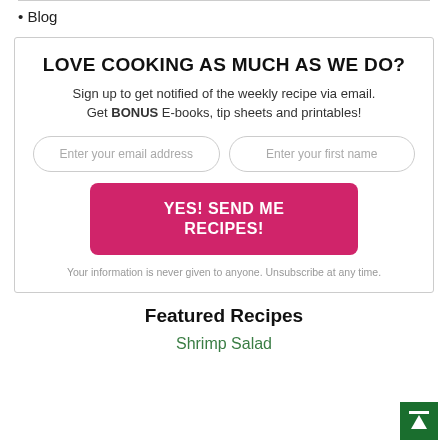• Blog
LOVE COOKING AS MUCH AS WE DO?
Sign up to get notified of the weekly recipe via email. Get BONUS E-books, tip sheets and printables!
Your information is never given to anyone. Unsubscribe at any time.
Featured Recipes
Shrimp Salad